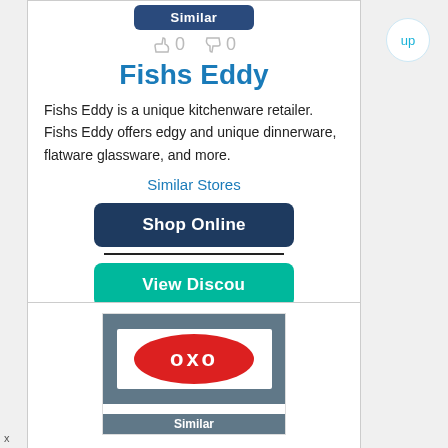[Figure (screenshot): Dark blue 'Similar' button at top of card]
0   0
Fishs Eddy
Fishs Eddy is a unique kitchenware retailer. Fishs Eddy offers edgy and unique dinnerware, flatware glassware, and more.
Similar Stores
Shop Online
View Discou
[Figure (logo): OXO logo on gray background with white oval]
Similar